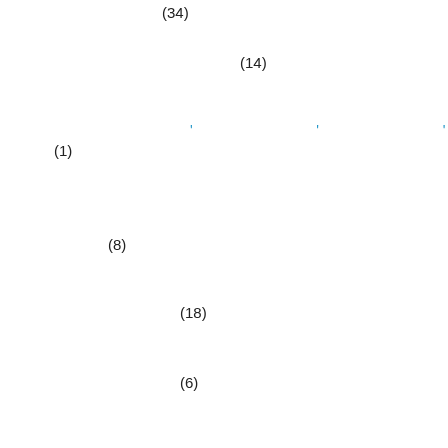(34)
(14)
' ' ' ' '
(1)
(8)
(18)
(6)
□□op (11)
' ' ' ' ' '
' (1)
(1)
(1)
(30)
(3)
(1)
(6)